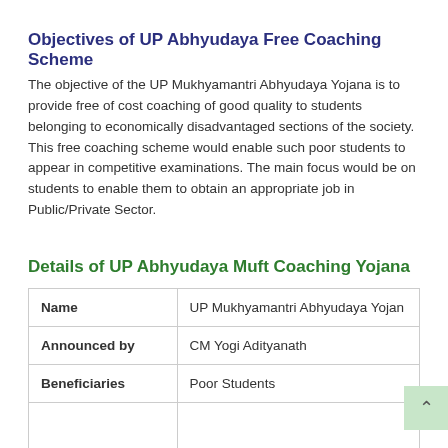Objectives of UP Abhyudaya Free Coaching Scheme
The objective of the UP Mukhyamantri Abhyudaya Yojana is to provide free of cost coaching of good quality to students belonging to economically disadvantaged sections of the society. This free coaching scheme would enable such poor students to appear in competitive examinations. The main focus would be on students to enable them to obtain an appropriate job in Public/Private Sector.
Details of UP Abhyudaya Muft Coaching Yojana
| Name | UP Mukhyamantri Abhyudaya Yojan |
| --- | --- |
| Announced by | CM Yogi Adityanath |
| Beneficiaries | Poor Students |